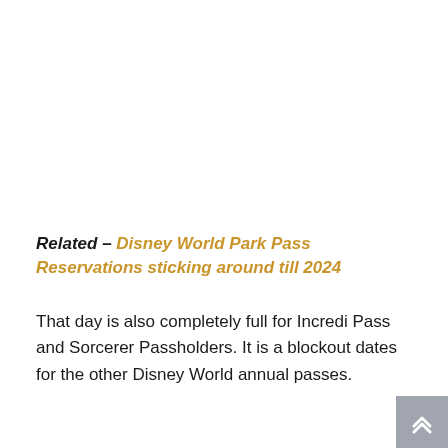Related – Disney World Park Pass Reservations sticking around till 2024
That day is also completely full for Incredi Pass and Sorcerer Passholders. It is a blockout dates for the other Disney World annual passes.